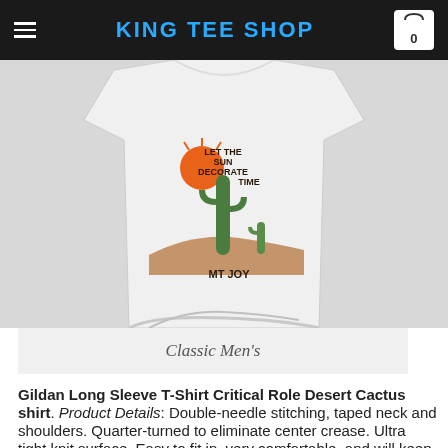KING TEE SHOP
[Figure (photo): White long sleeve t-shirt with desert cactus graphic showing cacti, orange sun, and text reading 'LET THE SUN DECORATE TIME MT JOY']
Classic Men's
Gildan Long Sleeve T-Shirt Critical Role Desert Cactus shirt. Product Details: Double-needle stitching, taped neck and shoulders. Quarter-turned to eliminate center crease. Ultra tight knit surface. Easy to fit in, very comfortable, and will keep you both warm and stylish during the colder months of